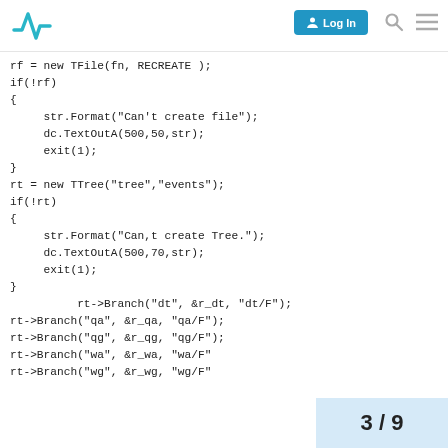Log In [search] [menu]
[Figure (screenshot): Logo — teal square root symbol]
rf = new TFile(fn, RECREATE );
if(!rf)
{
    str.Format("Can't create file");
    dc.TextOutA(500,50,str);
    exit(1);
}
rt = new TTree("tree","events");
if(!rt)
{
    str.Format("Can,t create Tree.");
    dc.TextOutA(500,70,str);
    exit(1);
}
            rt->Branch("dt", &r_dt, "dt/F");
rt->Branch("qa", &r_qa, "qa/F");
rt->Branch("qg", &r_qg, "qg/F");
rt->Branch("wa", &r_wa, "wa/F"
rt->Branch("wg", &r_wg, "wg/F"
3 / 9